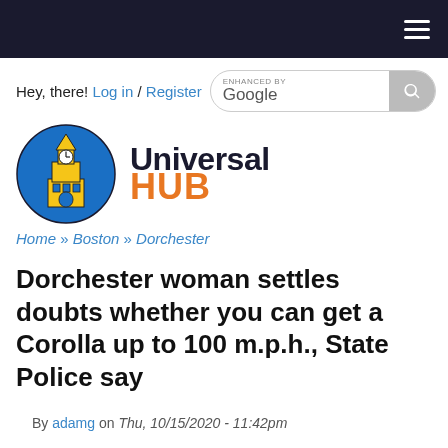Universal Hub - navigation header bar
Hey, there! Log in / Register — ENHANCED BY Google [search bar]
[Figure (logo): Universal Hub logo: yellow clock tower building on blue circle, with text 'Universal HUB' in black and orange]
Home » Boston » Dorchester
Dorchester woman settles doubts whether you can get a Corolla up to 100 m.p.h., State Police say
By adamg on Thu, 10/15/2020 - 11:42pm
State Police report a Dorchester woman faces a variety of